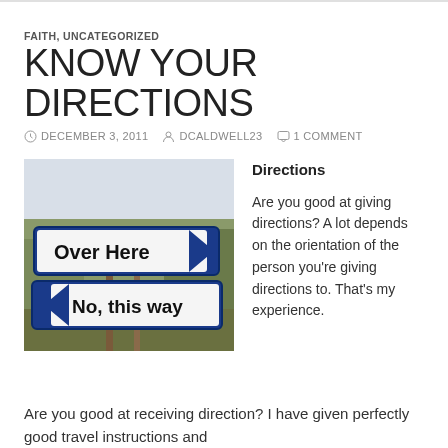FAITH, UNCATEGORIZED
KNOW YOUR DIRECTIONS
DECEMBER 3, 2011   DCALDWELL23   1 COMMENT
[Figure (photo): A photo of two road signs on a post. The top sign is an arrow pointing right reading 'Over Here'. The bottom sign is an arrow pointing left reading 'No, this way'. Background shows bare winter trees.]
Directions
Are you good at giving directions? A lot depends on the orientation of the person you’re giving directions to. That’s my experience.
Are you good at receiving direction? I have given perfectly good travel instructions and